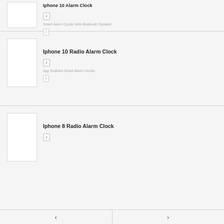Iphone 10 Alarm Clock
Smart Alarm Clocks With Bluetooth Speaker
Iphone 10 Radio Alarm Clock
App Enabled Smart Alarm Clocks
Iphone 8 Radio Alarm Clock
< >